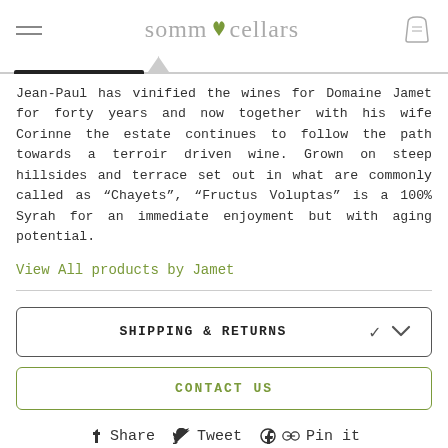sommcellars
Jean-Paul has vinified the wines for Domaine Jamet for forty years and now together with his wife Corinne the estate continues to follow the path towards a terroir driven wine. Grown on steep hillsides and terrace set out in what are commonly called as “Chayets”, “Fructus Voluptas” is a 100% Syrah for an immediate enjoyment but with aging potential.
View All products by Jamet
SHIPPING & RETURNS
CONTACT US
Share   Tweet   Pin it